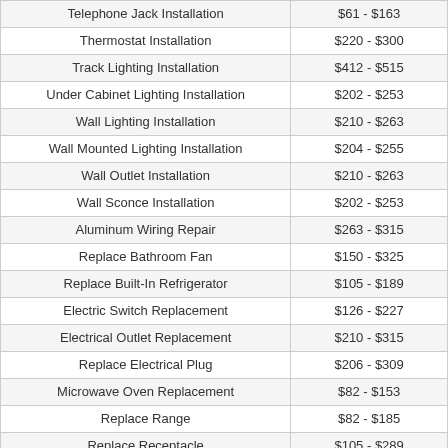| Service | Cost Range |
| --- | --- |
| Telephone Jack Installation | $61 - $163 |
| Thermostat Installation | $220 - $300 |
| Track Lighting Installation | $412 - $515 |
| Under Cabinet Lighting Installation | $202 - $253 |
| Wall Lighting Installation | $210 - $263 |
| Wall Mounted Lighting Installation | $204 - $255 |
| Wall Outlet Installation | $210 - $263 |
| Wall Sconce Installation | $202 - $253 |
| Aluminum Wiring Repair | $263 - $315 |
| Replace Bathroom Fan | $150 - $325 |
| Replace Built-In Refrigerator | $105 - $189 |
| Electric Switch Replacement | $126 - $227 |
| Electrical Outlet Replacement | $210 - $315 |
| Replace Electrical Plug | $206 - $309 |
| Microwave Oven Replacement | $82 - $153 |
| Replace Range | $82 - $185 |
| Replace Receptacle | $105 - $289 |